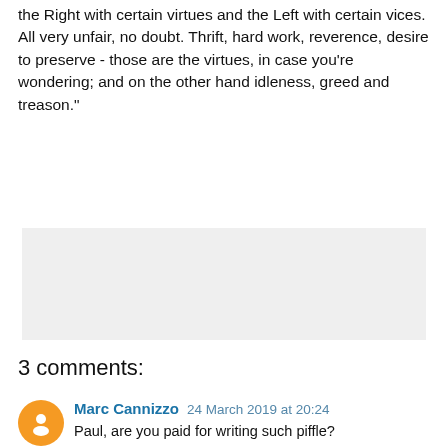the Right with certain virtues and the Left with certain vices. All very unfair, no doubt. Thrift, hard work, reverence, desire to preserve - those are the virtues, in case you're wondering; and on the other hand idleness, greed and treason."
[Figure (other): Grey advertisement placeholder block]
3 comments:
Marc Cannizzo 24 March 2019 at 20:24
Paul, are you paid for writing such piffle?
Reply
Replies
Political Refugee from the Global Village 24 March 2019 at 21:51
Rachel M in tears that made me laugh but I am sorry about the stupidity of people who think